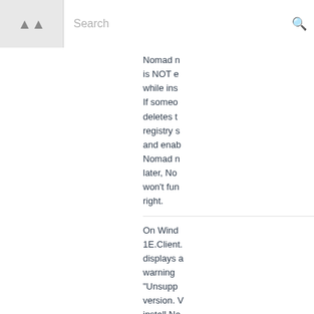Search
Nomad r is NOT e while ins If someo deletes t registry s and enab Nomad n later, No won't fun right.
On Wind 1E.Client. displays a warning "Unsupp version. install No